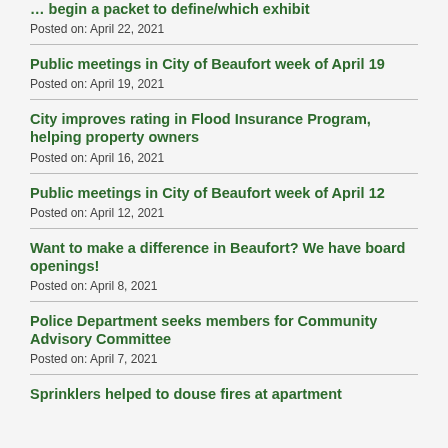… (partial title cut off at top)
Posted on: April 22, 2021
Public meetings in City of Beaufort week of April 19
Posted on: April 19, 2021
City improves rating in Flood Insurance Program, helping property owners
Posted on: April 16, 2021
Public meetings in City of Beaufort week of April 12
Posted on: April 12, 2021
Want to make a difference in Beaufort? We have board openings!
Posted on: April 8, 2021
Police Department seeks members for Community Advisory Committee
Posted on: April 7, 2021
Sprinklers helped to douse fires at apartment (partial, cut off at bottom)